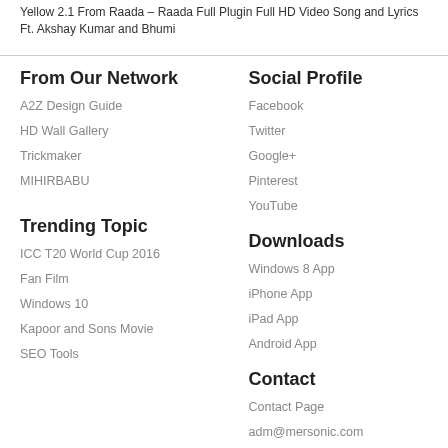Yellow 2.1 From Raada - Raada Full Plugin Full HD Video Song and Lyrics Ft. Akshay Kumar and Bhumi
From Our Network
A2Z Design Guide
HD Wall Gallery
Trickmaker
MIHIRBABU
Social Profile
Facebook
Twitter
Google+
Pinterest
YouTube
Trending Topic
ICC T20 World Cup 2016
Fan Film
Windows 10
Kapoor and Sons Movie
SEO Tools
Downloads
Windows 8 App
iPhone App
iPad App
Android App
Contact
Contact Page
adm@mersonic.com